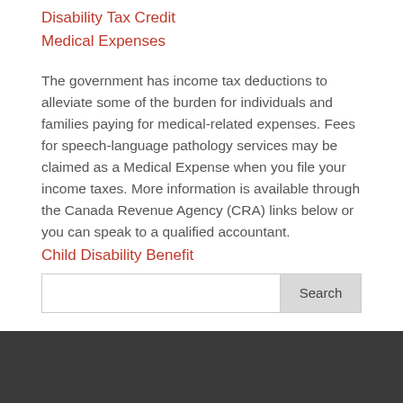Disability Tax Credit
Medical Expenses
The government has income tax deductions to alleviate some of the burden for individuals and families paying for medical-related expenses. Fees for speech-language pathology services may be claimed as a Medical Expense when you file your income taxes. More information is available through the Canada Revenue Agency (CRA) links below or you can speak to a qualified accountant.
Child Disability Benefit
[Figure (screenshot): Search bar with text input field and Search button]